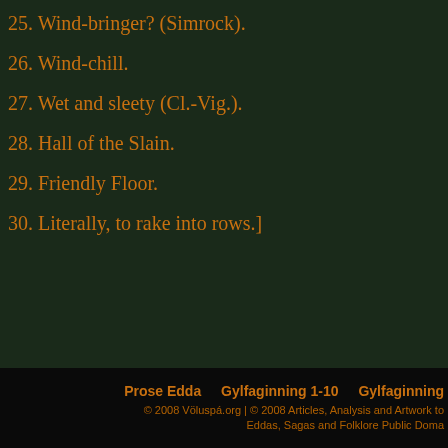25. Wind-bringer? (Simrock).
26. Wind-chill.
27. Wet and sleety (Cl.-Vig.).
28. Hall of the Slain.
29. Friendly Floor.
30. Literally, to rake into rows.]
Prose Edda   Gylfaginning 1-10   Gylfaginning   © 2008 Völuspá.org | © 2008 Articles, Analysis and Artwork to Eddas, Sagas and Folklore Public Domain